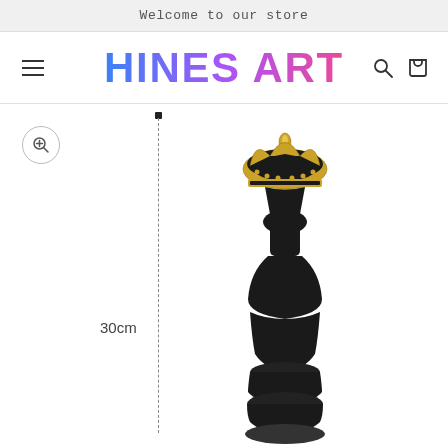Welcome to our store
HINES ART
[Figure (photo): Product image of a black chess king piece with gold crown, approximately 30cm tall, shown with a dashed measurement line on the left indicating 30cm height. A zoom button is visible in the upper left corner.]